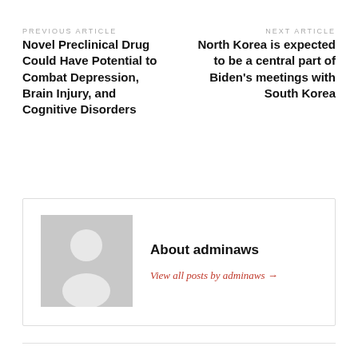PREVIOUS ARTICLE
Novel Preclinical Drug Could Have Potential to Combat Depression, Brain Injury, and Cognitive Disorders
NEXT ARTICLE
North Korea is expected to be a central part of Biden's meetings with South Korea
About adminaws
View all posts by adminaws →